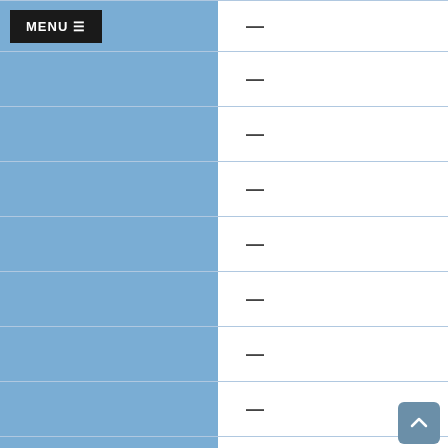|  |  |
| --- | --- |
|  | — |
|  | — |
|  | — |
|  | — |
|  | — |
|  | — |
|  | — |
|  | — |
|  | — |
Economically Disadvantaged
|  |  |
| --- | --- |
|  | 18 |